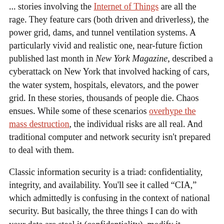... stories involving the Internet of Things are all the rage. They feature cars (both driven and driverless), the power grid, dams, and tunnel ventilation systems. A particularly vivid and realistic one, near-future fiction published last month in New York Magazine, described a cyberattack on New York that involved hacking of cars, the water system, hospitals, elevators, and the power grid. In these stories, thousands of people die. Chaos ensues. While some of these scenarios overhype the mass destruction, the individual risks are all real. And traditional computer and network security isn't prepared to deal with them.
Classic information security is a triad: confidentiality, integrity, and availability. You'll see it called “CIA,” which admittedly is confusing in the context of national security. But basically, the three things I can do with your data are steal it (confidentiality), modify it (integrity), or prevent you from getting it (availability).
So far, Internet threats have largely been about confidentiality. These can be expensive; one survey estimated that data breaches cost an average of $3.8 million each. They can be embarrassing, as in the theft of celebrity photos from Apple’s iCloud in 2014, or the Ashley Madison...